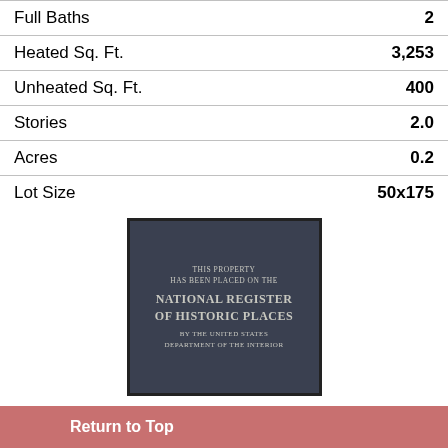|  |  |
| --- | --- |
| Full Baths | 2 |
| Heated Sq. Ft. | 3,253 |
| Unheated Sq. Ft. | 400 |
| Stories | 2.0 |
| Acres | 0.2 |
| Lot Size | 50x175 |
[Figure (photo): A dark metal plaque reading: THIS PROPERTY HAS BEEN PLACED ON THE NATIONAL REGISTER OF HISTORIC PLACES BY THE UNITED STATES DEPARTMENT OF THE INTERIOR]
Features.
1st Floor Bath
1st Floor Bedroom
2nd Floor Laundry Room